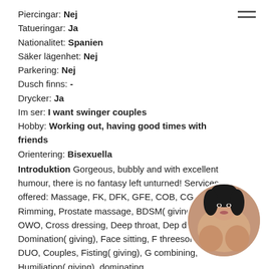Piercingar: Nej
Tatueringar: Ja
Nationalitet: Spanien
Säker lägenhet: Nej
Parkering: Nej
Dusch finns: -
Drycker: Ja
Im ser: I want swinger couples
Hobby: Working out, having good times with friends
Orientering: Bisexuella
Introduktion Gorgeous, bubbly and with excellent humour, there is no fantasy left unturned! Services offered: Massage, FK, DFK, GFE, COB, CG, Rimming, Prostate massage, BDSM( giving), OWO, Cross dressing, Deep throat, Dep date, Domination( giving), Face sitting, F threesome, DUO, Couples, Fisting( giving), G combining, Humiliation( giving), dominating
[Figure (photo): Circular profile photo of a woman with dark hair]